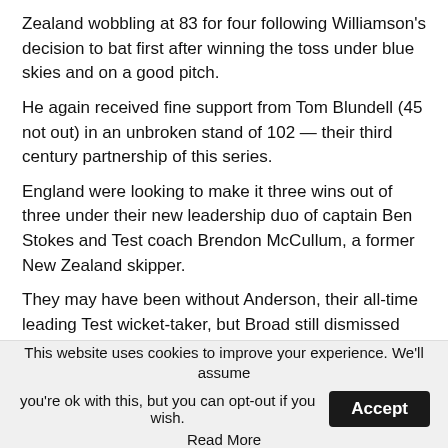Zealand wobbling at 83 for four following Williamson's decision to bat first after winning the toss under blue skies and on a good pitch.
He again received fine support from Tom Blundell (45 not out) in an unbroken stand of 102 — their third century partnership of this series.
England were looking to make it three wins out of three under their new leadership duo of captain Ben Stokes and Test coach Brendon McCullum, a former New Zealand skipper.
They may have been without Anderson, their all-time leading Test wicket-taker, but Broad still dismissed Latham for a sixth-ball duck after he edged straight to Joe Root at first slip
Will Young and Williamson, back in action after missing
This website uses cookies to improve your experience. We'll assume you're ok with this, but you can opt-out if you wish. Accept Read More